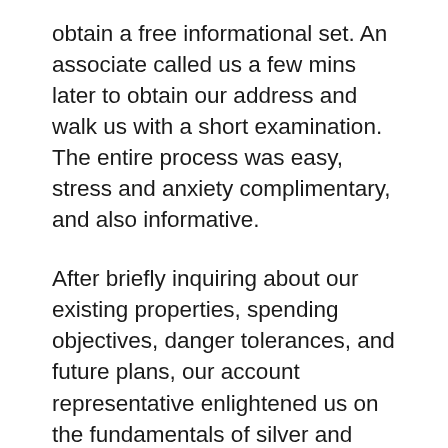obtain a free informational set. An associate called us a few mins later to obtain our address and walk us with a short examination. The entire process was easy, stress and anxiety complimentary, and also informative.
After briefly inquiring about our existing properties, spending objectives, danger tolerances, and future plans, our account representative enlightened us on the fundamentals of silver and gold Individual retirement accounts.
After our kit showed up, which was filled with great deals of details, we completely experienced all of our retired life properties.